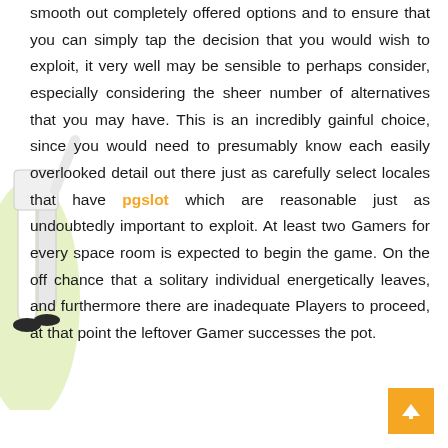[Figure (illustration): Partial figure of a person (athlete or player) visible on the left side of the page, showing legs and lower body in sports attire against a light green background.]
smooth out completely offered options and to ensure that you can simply tap the decision that you would wish to exploit, it very well may be sensible to perhaps consider, especially considering the sheer number of alternatives that you may have. This is an incredibly gainful choice, since you would need to presumably know each easily overlooked detail out there just as carefully select locales that have pgslot which are reasonable just as undoubtedly important to exploit. At least two Gamers for every space room is expected to begin the game. On the off chance that a solitary individual energetically leaves, and furthermore there are inadequate Players to proceed, at that point the leftover Gamer successes the pot.
[Figure (other): Orange scroll-to-top button with an upward arrow icon, positioned at the bottom right corner of the page.]